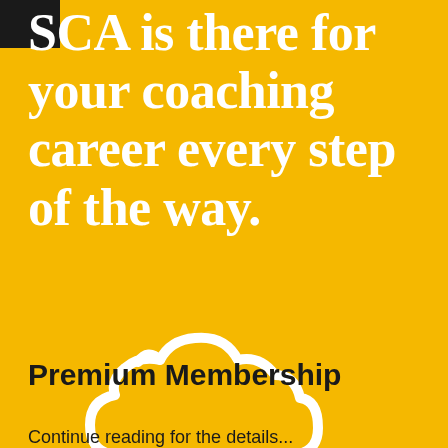SCA is there for your coaching career every step of the way.
[Figure (illustration): White outline icon of a cloud with a key hanging below it on a dotted line, on a golden yellow background]
Premium Membership
Continue reading for the details...